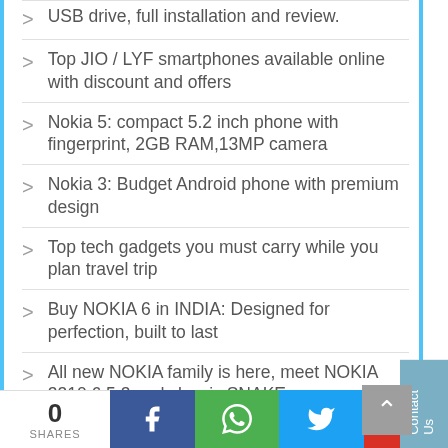USB drive, full installation and review.
Top JIO / LYF smartphones available online with discount and offers
Nokia 5: compact 5.2 inch phone with fingerprint, 2GB RAM,13MP camera
Nokia 3: Budget Android phone with premium design
Top tech gadgets you must carry while you plan travel trip
Buy NOKIA 6 in INDIA: Designed for perfection, built to last
All new NOKIA family is here, meet NOKIA 3310,6,5,3 and classic SNAKE
Web Work Trade Link Private Limited, another social media fraud busted
SOCIAL TRADE BIZ, Intmart, Frenzzup.com